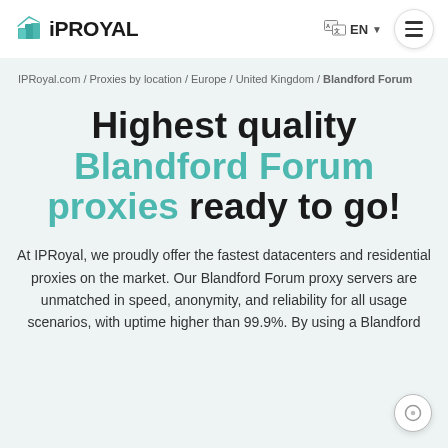IPRoyal — EN
IPRoyal.com / Proxies by location / Europe / United Kingdom / Blandford Forum
Highest quality Blandford Forum proxies ready to go!
At IPRoyal, we proudly offer the fastest datacenters and residential proxies on the market. Our Blandford Forum proxy servers are unmatched in speed, anonymity, and reliability for all usage scenarios, with uptime higher than 99.9%. By using a Blandford